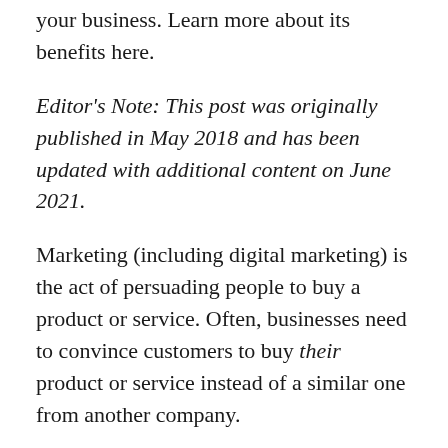your business. Learn more about its benefits here.
Editor's Note: This post was originally published in May 2018 and has been updated with additional content on June 2021.
Marketing (including digital marketing) is the act of persuading people to buy a product or service. Often, businesses need to convince customers to buy their product or service instead of a similar one from another company.
It goes without saying that marketing is getting harder and harder. Not only is competition fierce, but technology and the digital world are ever-changing. Millions have marketing strategies in